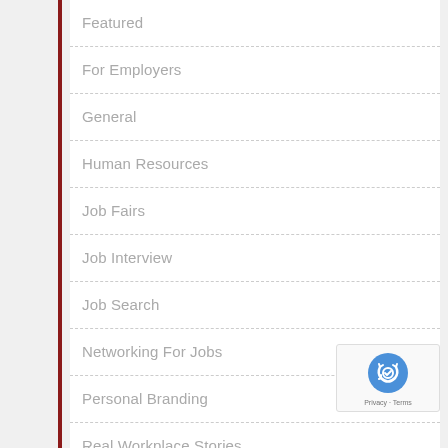Featured
For Employers
General
Human Resources
Job Fairs
Job Interview
Job Search
Networking For Jobs
Personal Branding
Real Workplace Stories
[Figure (logo): reCAPTCHA logo badge with 'Privacy - Terms' text]